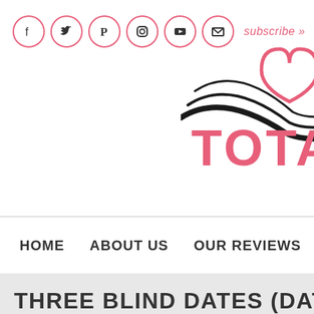[Figure (logo): Six social media icons in pink circles: Facebook, Twitter, Pinterest, Instagram, YouTube, Email, followed by 'subscribe »' text in pink]
[Figure (logo): Partial website logo with swooping black lines and a pink heart shape, with pink text 'TOTA' partially visible on right side]
HOME    ABOUT US    OUR REVIEWS    RECOMME...
THREE BLIND DATES (Datin...